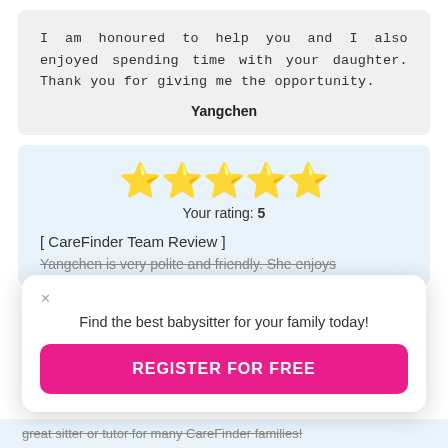I am honoured to help you and I also enjoyed spending time with your daughter. Thank you for giving me the opportunity.
Yangchen
[Figure (other): Five gold star rating icons]
Your rating: 5
[ CareFinder Team Review ]
Yangchen is very polite and friendly. She enjoys
Find the best babysitter for your family today!
REGISTER FOR FREE
great sitter or tutor for many CareFinder families!